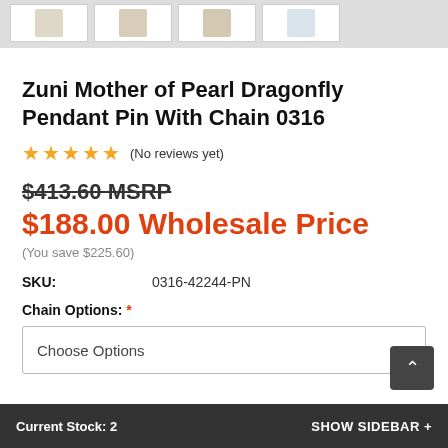[Figure (photo): Thumbnail row showing four product images of a dragonfly pendant pin with chain]
Zuni Mother of Pearl Dragonfly Pendant Pin With Chain 0316
★★★★★ (No reviews yet)
$413.60 MSRP
$188.00 Wholesale Price
(You save $225.60)
SKU: 0316-42244-PN
Chain Options: *
Choose Options
Current Stock: 2    SHOW SIDEBAR +